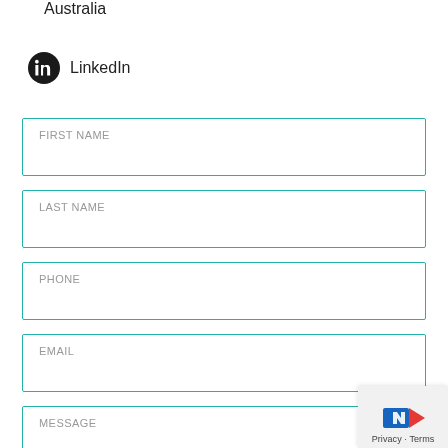Australia
LinkedIn
FIRST NAME
LAST NAME
PHONE
EMAIL
MESSAGE